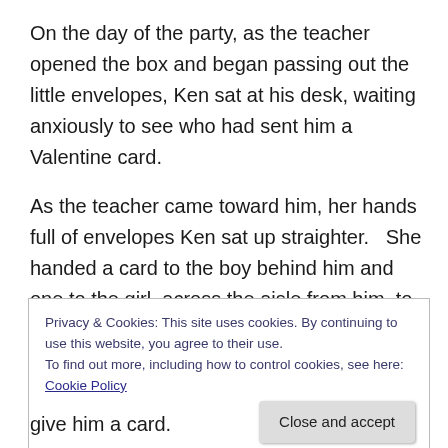On the day of the party, as the teacher opened the box and began passing out the little envelopes, Ken sat at his desk, waiting anxiously to see who had sent him a Valentine card.
As the teacher came toward him, her hands full of envelopes Ken sat up straighter.   She handed a card to the boy behind him and one to the girl, across the aisle from him, to add to her pile.
Maybe his were at the bottom.
Privacy & Cookies: This site uses cookies. By continuing to use this website, you agree to their use.
To find out more, including how to control cookies, see here: Cookie Policy
give him a card.